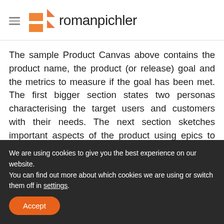romanpichler
The sample Product Canvas above contains the product name, the product (or release) goal and the metrics to measure if the goal has been met. The first bigger section states two personas characterising the target users and customers with their needs. The next section sketches important aspects of the product using epics to describe the product's functionality, a mock-up to capture the
We are using cookies to give you the best experience on our website.
You can find out more about which cookies we are using or switch them off in settings.
Accept